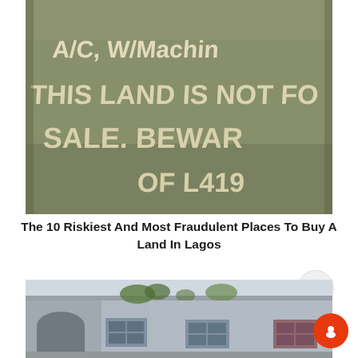[Figure (photo): A concrete wall with handwritten text in white paint reading: 'A/C, W/Machin THIS LAND IS NOT FOR SALE. BEWARE OF L419']
The 10 Riskiest And Most Fraudulent Places To Buy A Land In Lagos
[Figure (photo): A grey concrete building with arched doorway and windows, with vegetation on the rooftop and nearby]